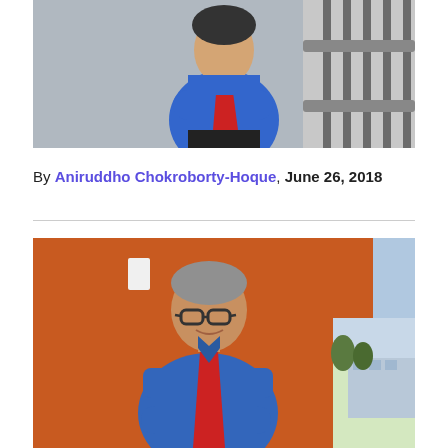[Figure (photo): A man wearing a blue shirt and red tie stands with arms crossed on a staircase landing with metal railings in the background.]
By Aniruddho Chokroborty-Hoque, June 26, 2018
[Figure (photo): A man wearing glasses, a blue shirt and red tie leans against an orange wall near a window. Through the window, a building exterior and green lawn are visible.]